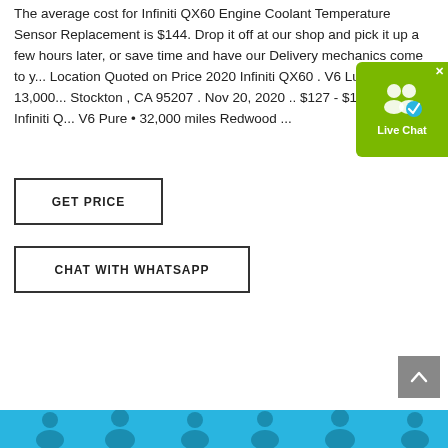The average cost for Infiniti QX60 Engine Coolant Temperature Sensor Replacement is $144. Drop it off at our shop and pick it up a few hours later, or save time and have our Delivery mechanics come to y... Location Quoted on Price 2020 Infiniti QX60 . V6 Luxe • 13,000... Stockton , CA 95207 . Nov 20, 2020 .. $127 - $155 . 2019 Infiniti Q... V6 Pure • 32,000 miles Redwood ...
[Figure (other): GET PRICE button - rectangular button with bold text]
[Figure (other): CHAT WITH WHATSAPP button - rectangular button with bold text]
[Figure (other): Live Chat widget - green rounded rectangle with person icons and checkmark, X close button]
[Figure (other): Scroll-to-top button - grey square with upward chevron arrow]
[Figure (other): Bottom blue banner with faint person silhouette figures]